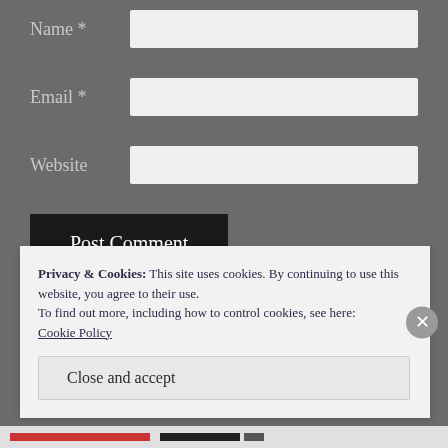Name *
Email *
Website
Post Comment
Notify me of new comments via email.
Privacy & Cookies: This site uses cookies. By continuing to use this website, you agree to their use.
To find out more, including how to control cookies, see here:
Cookie Policy
Close and accept